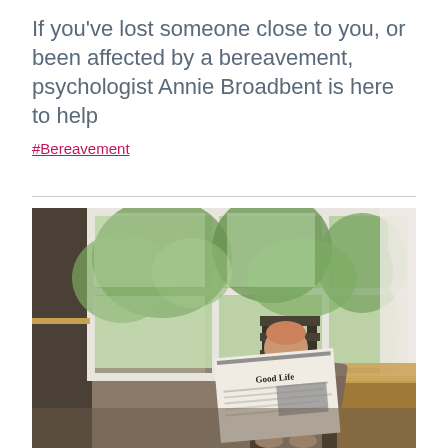If you've lost someone close to you, or been affected by a bereavement, psychologist Annie Broadbent is here to help
#Bereavement
[Figure (photo): An elderly person sitting on a wooden chair near large white-framed windows with green trees visible outside, reading a newspaper with 'Good Life' visible on the front page. The scene is a bright, airy room with natural light.]